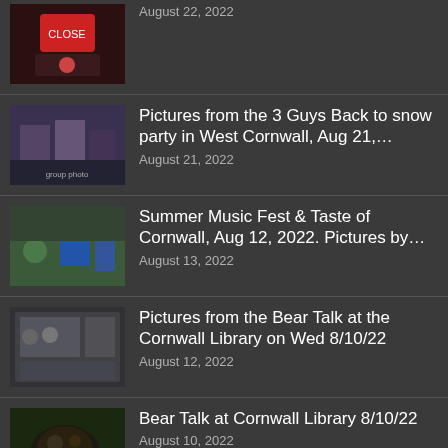August 22, 2022
Pictures from the 3 Guys Back to snow party in West Cornwall, Aug 21,... August 21, 2022
Summer Music Fest & Taste of Cornwall, Aug 12, 2022. Pictures by... August 13, 2022
Pictures from the Bear Talk at the Cornwall Library on Wed 8/10/22 August 12, 2022
Bear Talk at Cornwall Library 8/10/22 August 10, 2022
Pictures from the opening of the Rose Algrant Show, Aug 5, 2022 by... August 6, 2022
Pictures from the beginning of the...